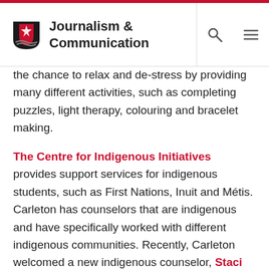Journalism & Communication
the chance to relax and de-stress by providing many different activities, such as completing puzzles, light therapy, colouring and bracelet making.
The Centre for Indigenous Initiatives provides support services for indigenous students, such as First Nations, Inuit and Métis. Carleton has counselors that are indigenous and have specifically worked with different indigenous communities. Recently, Carleton welcomed a new indigenous counselor, Staci Loiselle, to help support and counsel indigenous students. The counselling services are free and can be done through drop-ins or booked appointments.